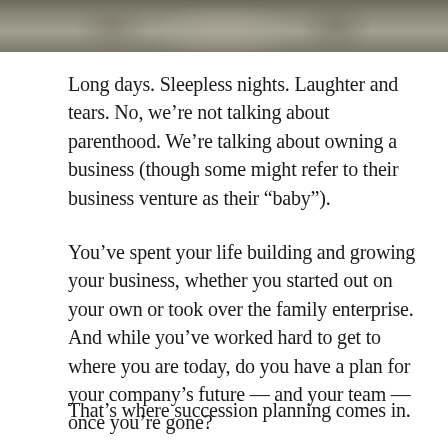[Figure (photo): Partial photo of people, cropped at top of page, showing portions of individuals in what appears to be work attire against a natural background]
Long days. Sleepless nights. Laughter and tears. No, we're not talking about parenthood. We're talking about owning a business (though some might refer to their business venture as their “baby”).
You’ve spent your life building and growing your business, whether you started out on your own or took over the family enterprise. And while you’ve worked hard to get to where you are today, do you have a plan for your company’s future — and your team — once you’re gone?
That’s where succession planning comes in.